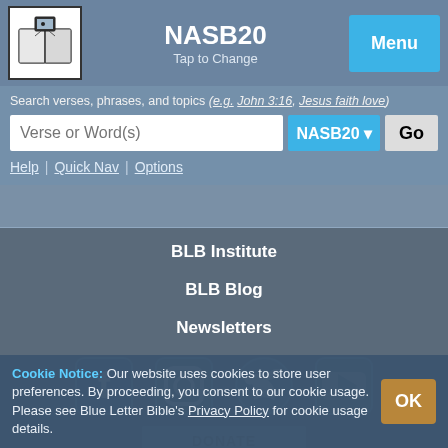NASB20 | Tap to Change | Menu
Search verses, phrases, and topics (e.g. John 3:16, Jesus faith love)
Verse or Word(s) | NASB20 | Go
Help | Quick Nav | Options
BLB Institute
BLB Blog
Newsletters
[Figure (infographic): Social media icons: Facebook, Instagram, Twitter, YouTube]
Cookie Notice: Our website uses cookies to store user preferences. By proceeding, you consent to our cookie usage. Please see Blue Letter Bible's Privacy Policy for cookie usage details.
OK
DONATE